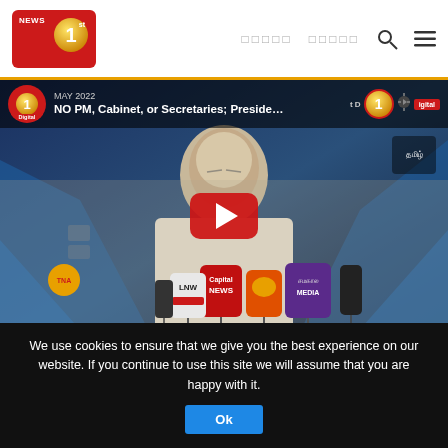[Figure (screenshot): News 1st Sri Lanka website header with logo on left and navigation links and search/menu icons on right]
[Figure (screenshot): YouTube video thumbnail showing a press conference. Man at microphones. Overlay title reads 'NO PM, Cabinet, or Secretaries; Preside...' with date MAY 2022. Red YouTube play button in center. News 1st Digital branding.]
We use cookies to ensure that we give you the best experience on our website. If you continue to use this site we will assume that you are happy with it.